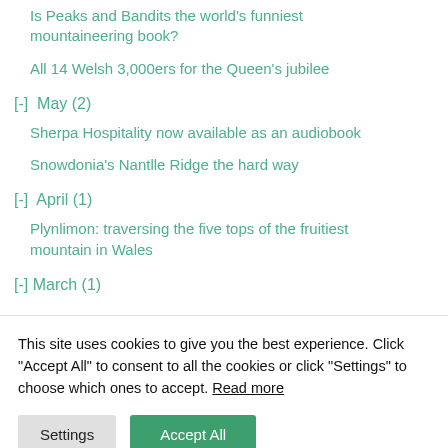Is Peaks and Bandits the world's funniest mountaineering book?
All 14 Welsh 3,000ers for the Queen's jubilee
[-] May (2)
Sherpa Hospitality now available as an audiobook
Snowdonia's Nantlle Ridge the hard way
[-] April (1)
Plynlimon: traversing the five tops of the fruitiest mountain in Wales
[-] March (1)
This site uses cookies to give you the best experience. Click "Accept All" to consent to all the cookies or click "Settings" to choose which ones to accept. Read more
Settings | Accept All